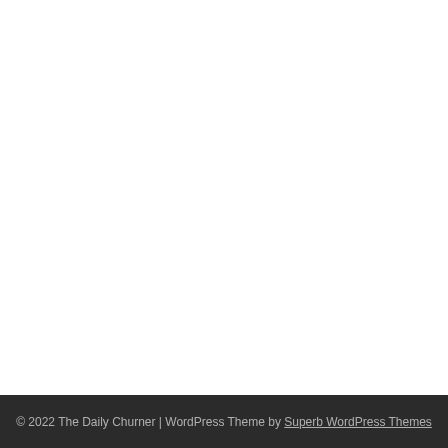© 2022 The Daily Churner | WordPress Theme by Superb WordPress Themes